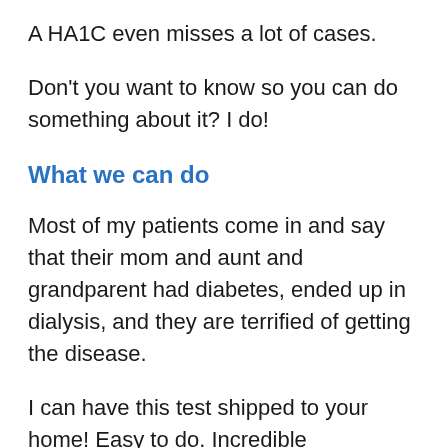A HA1C even misses a lot of cases.
Don't you want to know so you can do something about it? I do!
What we can do
Most of my patients come in and say that their mom and aunt and grandparent had diabetes, ended up in dialysis, and they are terrified of getting the disease.
I can have this test shipped to your home! Easy to do. Incredible information to have to ward off diabetes and cognitive decline.